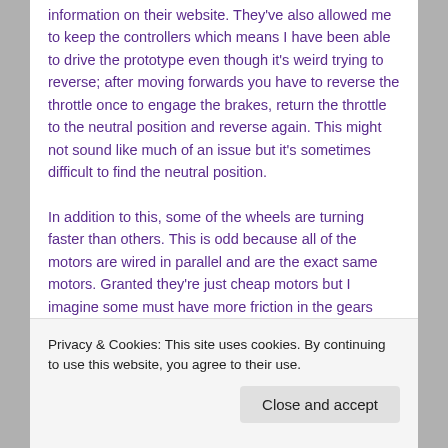information on their website. They've also allowed me to keep the controllers which means I have been able to drive the prototype even though it's weird trying to reverse; after moving forwards you have to reverse the throttle once to engage the brakes, return the throttle to the neutral position and reverse again. This might not sound like much of an issue but it's sometimes difficult to find the neutral position.
In addition to this, some of the wheels are turning faster than others. This is odd because all of the motors are wired in parallel and are the exact same motors. Granted they're just cheap motors but I imagine some must have more friction in the gears than others. In particular, you can see in the following video that the front left wheel finds it difficult to spin, whereas the middle left wheel
Privacy & Cookies: This site uses cookies. By continuing to use this website, you agree to their use.